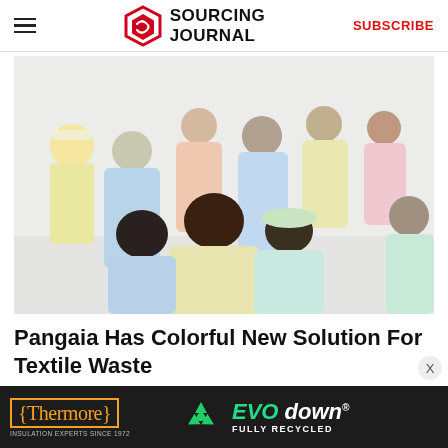SOURCING JOURNAL  SUBSCRIBE
[Figure (photo): Group of people wearing pastel-colored hoodies and sweatpants, photographed from behind against a light grey background. Colors include light blue, mint green, pale yellow, peach, and pink.]
Pangaia Has Colorful New Solution For Textile Waste
[Figure (other): Advertisement banner for Thermore EVO down. Shows the Thermore logo in orange on dark background with 'INSULATION EXPERTS SINCE 1972' tagline, a recycling icon, and 'EVO down FULLY RECYCLED' text in green and white.]